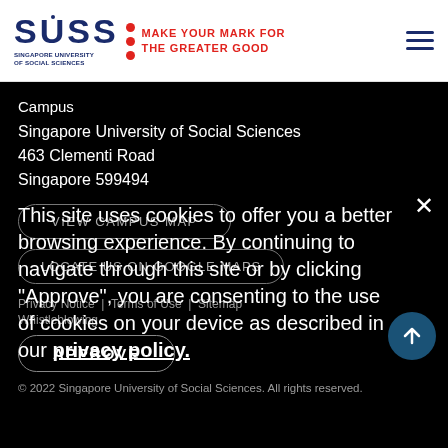[Figure (logo): SUSS – Singapore University of Social Sciences logo with tagline MAKE YOUR MARK FOR THE GREATER GOOD in red]
Campus
Singapore University of Social Sciences
463 Clementi Road
Singapore 599494
VIEW CAMPUS MAP
LOCATE US ON GOOGLE MAPS
This site uses cookies to offer you a better browsing experience. By continuing to navigate through this site or by clicking "Approve", you are consenting to the use of cookies on your device as described in our privacy policy.
APPROVE
Privacy Notice | Terms of Use | Sitemap
Whistleblowing
© 2022 Singapore University of Social Sciences. All rights reserved.